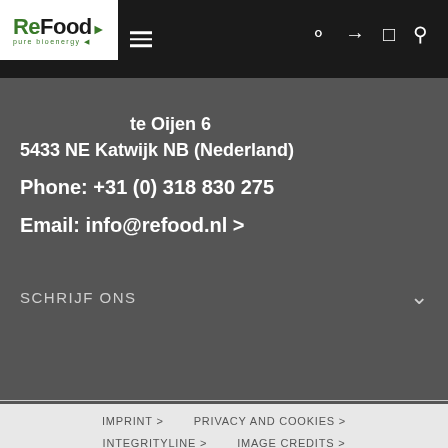[Figure (logo): ReFood pure bioenergy logo, white background box, top left]
ReFood B.V.
te Oijen 6
5433 NE Katwijk NB (Nederland)
Phone: +31 (0) 318 830 275
Email: info@refood.nl >
SCHRIJF ONS
IMPRINT > PRIVACY AND COOKIES > INTEGRITYLINE > IMAGE CREDITS > DOWNLOADS > SITEMAP >
© 2022 ReFood B.V.